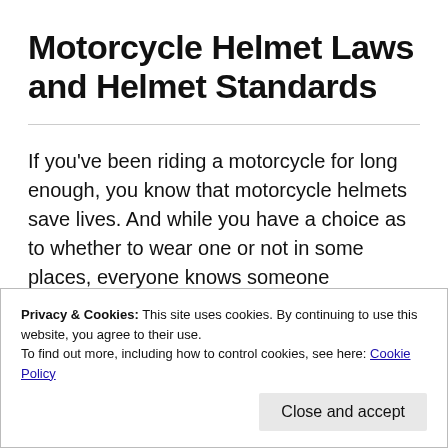Motorcycle Helmet Laws and Helmet Standards
If you've been riding a motorcycle for long enough, you know that motorcycle helmets save lives. And while you have a choice as to whether to wear one or not in some places, everyone knows someone who has been in a motorcycle accident
Privacy & Cookies: This site uses cookies. By continuing to use this website, you agree to their use.
To find out more, including how to control cookies, see here: Cookie Policy
Close and accept